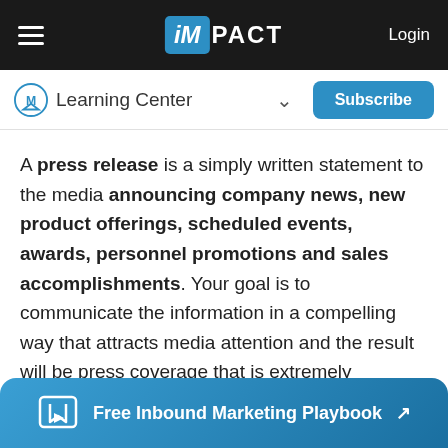iMPACT — Login
Learning Center — Subscribe
A press release is a simply written statement to the media announcing company news, new product offerings, scheduled events, awards, personnel promotions and sales accomplishments. Your goal is to communicate the information in a compelling way that attracts media attention and the result will be press coverage that is extremely
Free Inbound Marketing Playbook ↗